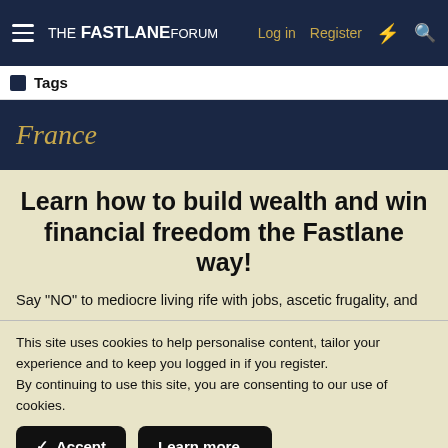THE FASTLANE FORUM — Log in  Register
Tags
France
Learn how to build wealth and win financial freedom the Fastlane way!
Say "NO" to mediocre living rife with jobs, ascetic frugality, and
This site uses cookies to help personalise content, tailor your experience and to keep you logged in if you register.
By continuing to use this site, you are consenting to our use of cookies.